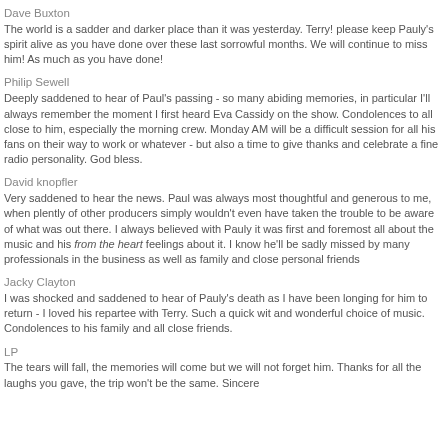Dave Buxton
The world is a sadder and darker place than it was yesterday. Terry! please keep Pauly's spirit alive as you have done over these last sorrowful months. We will continue to miss him! As much as you have done!
Philip Sewell
Deeply saddened to hear of Paul's passing - so many abiding memories, in particular I'll always remember the moment I first heard Eva Cassidy on the show. Condolences to all close to him, especially the morning crew. Monday AM will be a difficult session for all his fans on their way to work or whatever - but also a time to give thanks and celebrate a fine radio personality. God bless.
David knopfler
Very saddened to hear the news. Paul was always most thoughtful and generous to me, when plently of other producers simply wouldn't even have taken the trouble to be aware of what was out there. I always believed with Pauly it was first and foremost all about the music and his from the heart feelings about it. I know he'll be sadly missed by many professionals in the business as well as family and close personal friends
Jacky Clayton
I was shocked and saddened to hear of Pauly's death as I have been longing for him to return - I loved his repartee with Terry. Such a quick wit and wonderful choice of music. Condolences to his family and all close friends.
LP
The tears will fall, the memories will come but we will not forget him. Thanks for all the laughs you gave, the trip won't be the same. Sincere